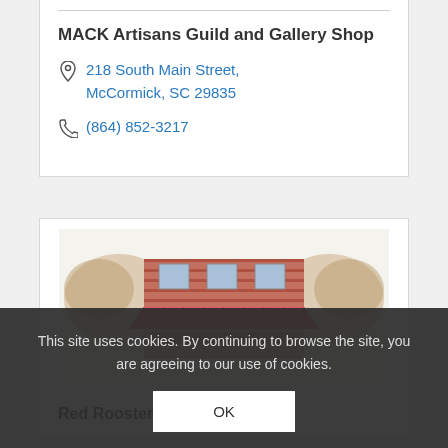MACK Artisans Guild and Gallery Shop
218 South Main Street, McCormick, SC 29835
(864) 852-3217
[Figure (illustration): Illustrated storefront of a brick building with a pink/red awning and blue door, surrounded by decorative foliage. Appears to be the Red Rooster Emporium.]
Red Rooster Emporium
This site uses cookies. By continuing to browse the site, you are agreeing to our use of cookies.